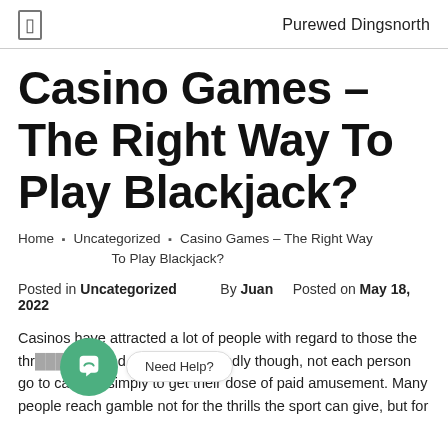Purewed Dingsnorth
Casino Games – The Right Way To Play Blackjack?
Home › Uncategorized › Casino Games – The Right Way To Play Blackjack?
Posted in Uncategorized   By Juan   Posted on May 18, 2022
Casinos have attracted a lot of people with regard to those the thr...ci'   Need Help?   Admittedly though, not each person go to casinos simply to get their dose of paid amusement. Many people reach gamble not for the thrills the sport can give, but for